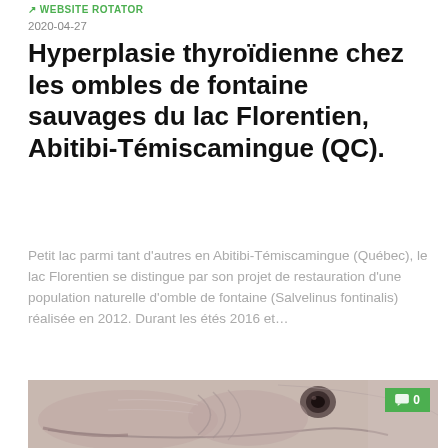WEBSITE ROTATOR
2020-04-27
Hyperplasie thyroïdienne chez les ombles de fontaine sauvages du lac Florentien, Abitibi-Témiscamingue (QC).
Petit lac parmi tant d'autres en Abitibi-Témiscamingue (Québec), le lac Florentien se distingue par son projet de restauration d'une population naturelle d'omble de fontaine (Salvelinus fontinalis) réalisée en 2012. Durant les étés 2016 et...
[Figure (photo): Close-up photo of a brook trout (Salvelinus fontinalis) head showing distinctive features, with a green comment badge showing '0' in the top-right corner.]